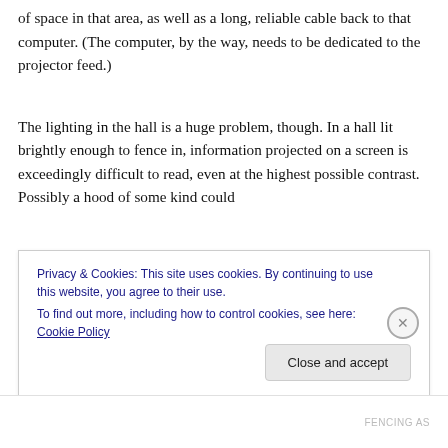of space in that area, as well as a long, reliable cable back to that computer. (The computer, by the way, needs to be dedicated to the projector feed.)
The lighting in the hall is a huge problem, though. In a hall lit brightly enough to fence in, information projected on a screen is exceedingly difficult to read, even at the highest possible contrast. Possibly a hood of some kind could
Privacy & Cookies: This site uses cookies. By continuing to use this website, you agree to their use.
To find out more, including how to control cookies, see here: Cookie Policy
Close and accept